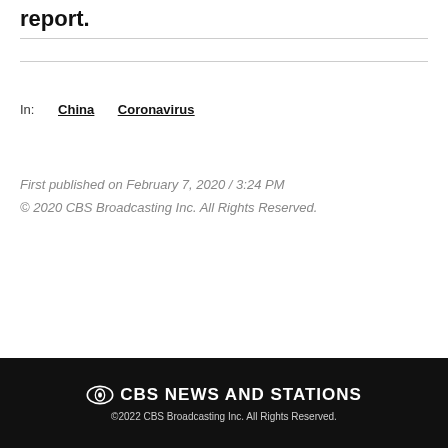report.
In:   China   Coronavirus
First published on February 7, 2020 / 3:24 PM
© 2020 CBS Broadcasting Inc. All Rights Reserved.
CBS NEWS AND STATIONS
©2022 CBS Broadcasting Inc. All Rights Reserved.